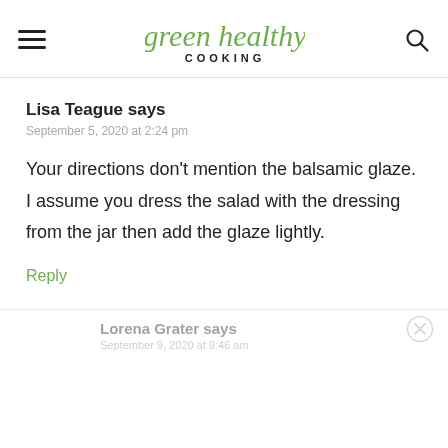green healthy COOKING
Lisa Teague says
September 5, 2020 at 2:24 pm
Your directions don't mention the balsamic glaze. I assume you dress the salad with the dressing from the jar then add the glaze lightly.
Reply
Lorena Grater says
September 9, 2020 at 9:46 am